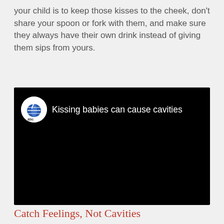your child is to keep those kisses to the cheek, don't share your spoon or fork with them, and make sure they always have their own drink instead of giving them sips from yours.
[Figure (screenshot): Embedded video player with black background showing ABC 7 Detroit logo and title 'Kissing babies can cause cavities']
Catch Feelings, Not Cavities